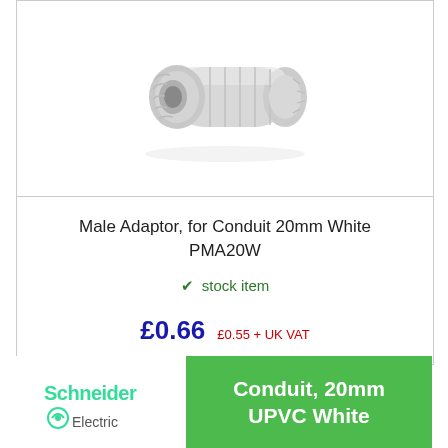[Figure (photo): White plastic male adaptor for conduit, cylindrical connector fitting with threaded end and ribbed body, shown on white background]
Male Adaptor, for Conduit 20mm White PMA20W
✔ stock item
£0.66  £0.55 + UK VAT
[Figure (logo): Schneider Electric logo with text 'Conduit, 20mm UPVC White' on green banner background]